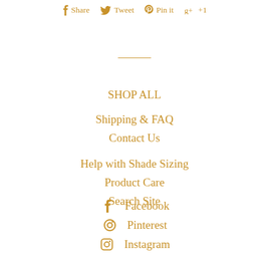Share  Tweet  Pin it  +1
SHOP ALL
Shipping & FAQ
Contact Us
Help with Shade Sizing
Product Care
Search Site
Facebook
Pinterest
Instagram